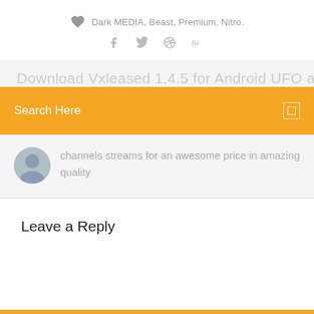Dark MEDIA, Beast, Premium, Nitro.
[Figure (illustration): Social media icons: Facebook, Twitter, Dribbble, Behance]
[Figure (screenshot): Search bar overlay with orange background saying 'Search Here' with a small square icon on the right, overlaid on a card with partial heading text and a comment saying 'channels streams for an awesome price in amazing quality' with a user avatar]
Leave a Reply